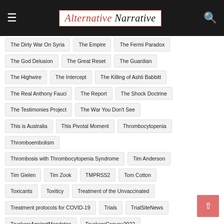Alternative Narrative
The Dirty War On Syria
The Empire
The Fermi Paradox
The God Delusion
The Great Reset
The Guardian
The Highwire
The Intercept
The Killing of Ashli Babbitt
The Real Anthony Fauci
The Report
The Shock Doctrine
The Testimonies Project
The War You Don't See
This is Australia
This Pivotal Moment
Thrombocytopenia
Thromboembolism
Thrombosis with Thrombocytopenia Syndrome
Tim Anderson
Tim Gielen
Tim Zook
TMPRSS2
Tom Cotton
Toxicants
Toxiticy
Treatment of the Unvaccinated
Treatment protocols for COVID-19
Trials
TrialSiteNews
TruckersAgainstMandates
TruckersConvoy2022
TruckersForFreedom
TruckersStrike
Trump
Trump 2.0